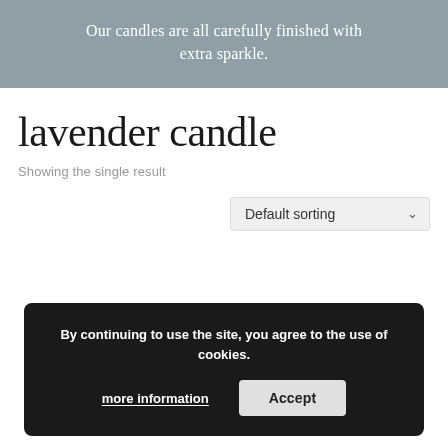Our candles are all carefully finished with extra sparkle.
lavender candle
Showing the single result
Default sorting
By continuing to use the site, you agree to the use of cookies.
more information
Accept